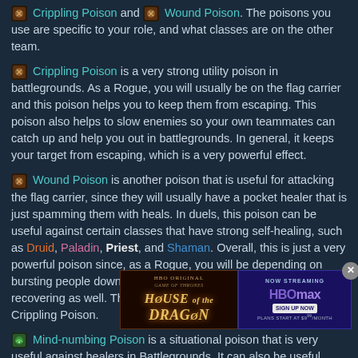Crippling Poison and Wound Poison. The poisons you use are specific to your role, and what classes are on the other team.
Crippling Poison is a very strong utility poison in battlegrounds. As a Rogue, you will usually be on the flag carrier and this poison helps you to keep them from escaping. This poison also helps to slow enemies so your own teammates can catch up and help you out in battlegrounds. In general, it keeps your target from escaping, which is a very powerful effect.
Wound Poison is another poison that is useful for attacking the flag carrier, since they will usually have a pocket healer that is just spamming them with heals. In duels, this poison can be useful against certain classes that have strong self-healing, such as Druid, Paladin, Priest, and Shaman. Overall, this is just a very powerful poison since, as a Rogue, you will be depending on bursting people down and this poison prevents them from recovering as well. This is commonly using in conjunction with Crippling Poison.
Mind-numbing Poison is a situational poison that is very useful against healers in Battlegrounds. It can also be useful against Warlock... you will usu... caster DPS pla...
[Figure (screenshot): Ad overlay: House of the Dragon (HBO Original, Game of Thrones) on the left, and HBO Max Now Streaming Sign Up Now Plans Start at $9.99/Month on the right, with a close X button.]